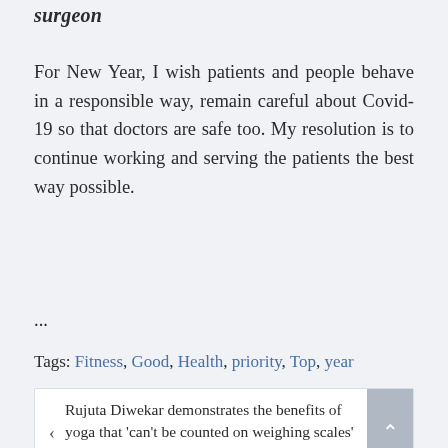surgeon
For New Year, I wish patients and people behave in a responsible way, remain careful about Covid-19 so that doctors are safe too. My resolution is to continue working and serving the patients the best way possible.
...
Tags: Fitness, Good, Health, priority, Top, year
< Rujuta Diwekar demonstrates the benefits of yoga that 'can't be counted on weighing scales' | Health
The 5 Best Skin Care Resolutions You Can Make, According To Dermatologists >